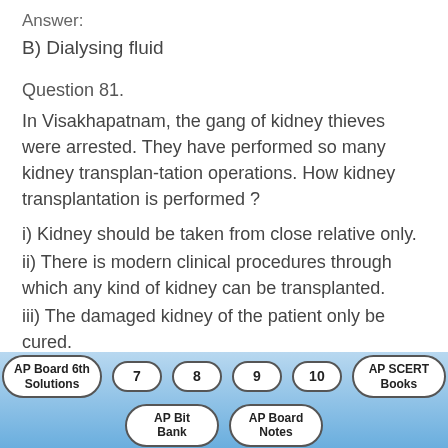Answer:
B) Dialysing fluid
Question 81.
In Visakhapatnam, the gang of kidney thieves were arrested. They have performed so many kidney transplan-tation operations. How kidney transplantation is performed ?
i) Kidney should be taken from close relative only.
ii) There is modern clinical procedures through which any kind of kidney can be transplanted.
iii) The damaged kidney of the patient only be cured.
iv) Arrange the machine in the place of damaged kidney.
AP Board 6th Solutions | 7 | 8 | 9 | 10 | AP SCERT Books | AP Bit Bank | AP Board Notes